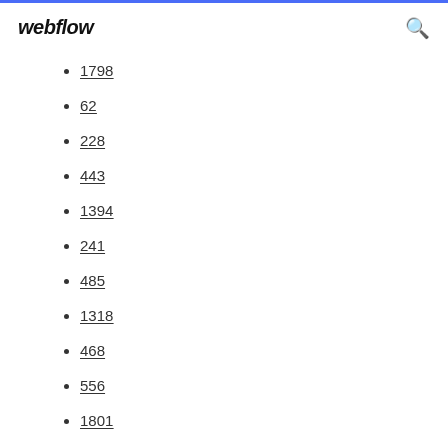webflow
1798
62
228
443
1394
241
485
1318
468
556
1801
382